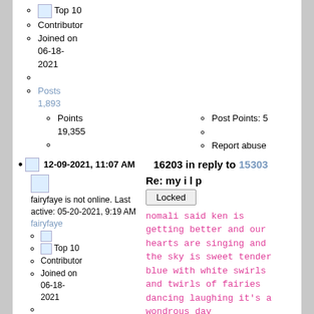Top 10 (image)
Contributor
Joined on 06-18-2021
Posts 1,893
Points 19,355
Post Points: 5
Report abuse
12-09-2021, 11:07 AM   16203 in reply to 15303
fairyfaye is not online. Last active: 05-20-2021, 9:19 AM
fairyfaye
Top 10 (image)
Contributor
Joined on 06-18-2021
Re: my i l p
Locked
nomali said ken is getting better and our hearts are singing and the sky is sweet tender blue with white swirls and twirls of fairies dancing laughing it's a wondrous day